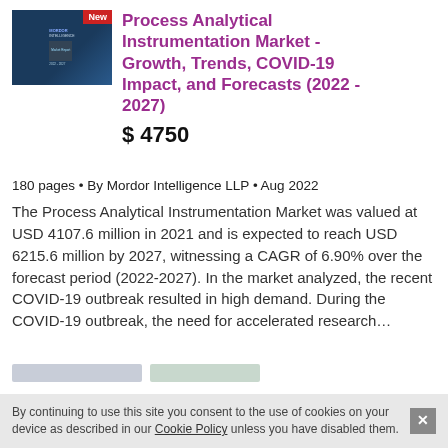[Figure (other): Cover image of the Process Analytical Instrumentation Market report with a 'New' badge in red]
Process Analytical Instrumentation Market - Growth, Trends, COVID-19 Impact, and Forecasts (2022 - 2027)
$ 4750
180 pages • By Mordor Intelligence LLP • Aug 2022
The Process Analytical Instrumentation Market was valued at USD 4107.6 million in 2021 and is expected to reach USD 6215.6 million by 2027, witnessing a CAGR of 6.90% over the forecast period (2022-2027). In the market analyzed, the recent COVID-19 outbreak resulted in high demand. During the COVID-19 outbreak, the need for accelerated research…
By continuing to use this site you consent to the use of cookies on your device as described in our Cookie Policy unless you have disabled them.